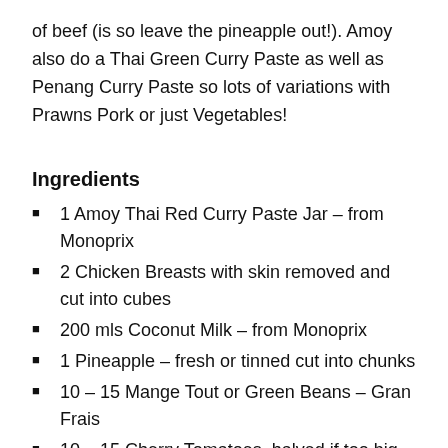of beef (is so leave the pineapple out!). Amoy also do a Thai Green Curry Paste as well as Penang Curry Paste so lots of variations with Prawns Pork or just Vegetables!
Ingredients
1 Amoy Thai Red Curry Paste Jar – from Monoprix
2 Chicken Breasts with skin removed and cut into cubes
200 mls Coconut Milk – from Monoprix
1 Pineapple – fresh or tinned cut into chunks
10 – 15 Mange Tout or Green Beans – Gran Frais
10 – 15 Cherry Tomatoes, halved if too big